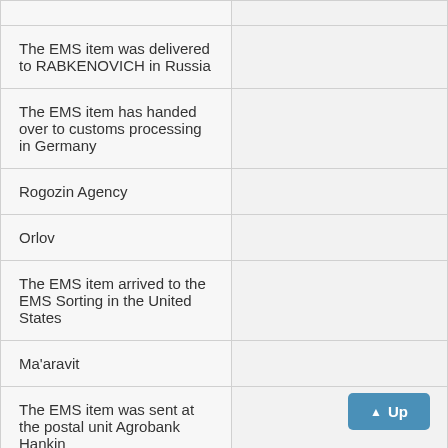| Description |  |
| --- | --- |
|  |  |
| The EMS item was delivered to RABKENOVICH in Russia |  |
| The EMS item has handed over to customs processing in Germany |  |
| Rogozin Agency |  |
| Orlov |  |
| The EMS item arrived to the EMS Sorting in the United States |  |
| Ma'aravit |  |
| The EMS item was sent at the postal unit Agrobank Hankin |  |
|  |  |